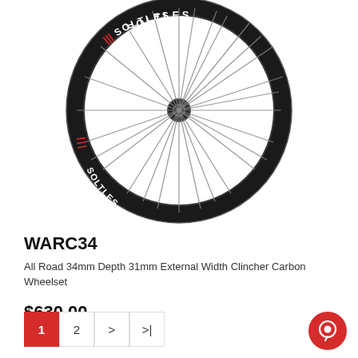[Figure (photo): Black carbon bicycle wheel (wheelset) with SOLTLES branding in white and red text on the rim. The wheel is photographed from the front showing spokes and a black hub against a white background.]
WARC34
All Road 34mm Depth 31mm External Width Clincher Carbon Wheelset
$630.00
1  2  >  >|